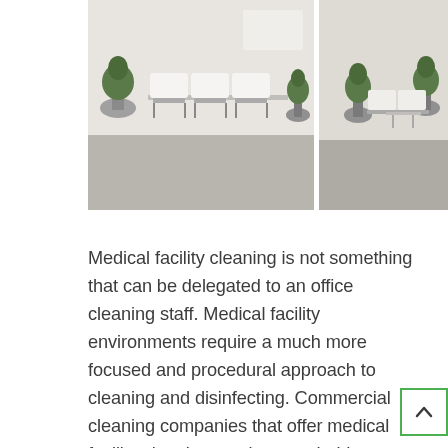[Figure (photo): Two-panel image of a clean medical/office waiting room. Left panel shows white plastic chairs in a row with potted topiary trees and a light grey floor. Right panel shows a similar waiting area from a different angle with more chairs and trees.]
Medical facility cleaning is not something that can be delegated to an office cleaning staff. Medical facility environments require a much more focused and procedural approach to cleaning and disinfecting. Commercial cleaning companies that offer medical facility cleaning services are held to much higher standards than your typical commercial cleaning company and they should have definitive policies and procedures in place to